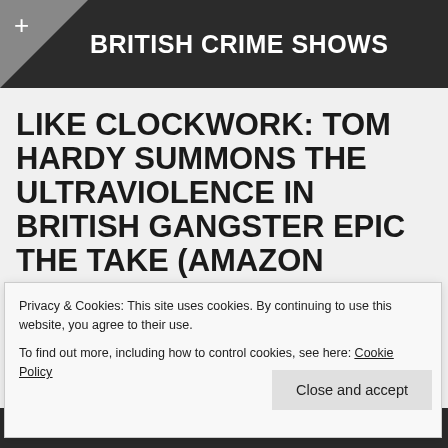BRITISH CRIME SHOWS
LIKE CLOCKWORK: TOM HARDY SUMMONS THE ULTRAVIOLENCE IN BRITISH GANGSTER EPIC THE TAKE (AMAZON PRIME)
Privacy & Cookies: This site uses cookies. By continuing to use this website, you agree to their use.
To find out more, including how to control cookies, see here: Cookie Policy
Close and accept